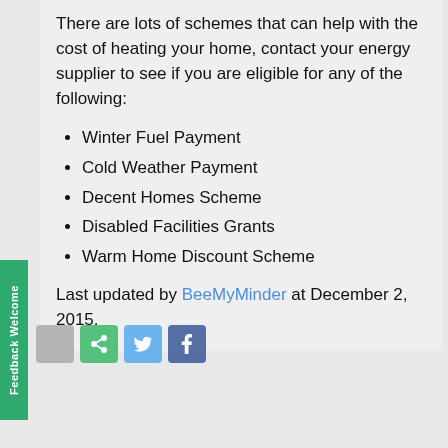There are lots of schemes that can help with the cost of heating your home, contact your energy supplier to see if you are eligible for any of the following:
Winter Fuel Payment
Cold Weather Payment
Decent Homes Scheme
Disabled Facilities Grants
Warm Home Discount Scheme
Last updated by BeeMyMinder at December 2, 2015.
This website uses cookies to ensure you get the best experience on our website.
comments powered by Got it!
This entry was posted in Money, Utilities on November 13, 2014 by BeeMyMinder.